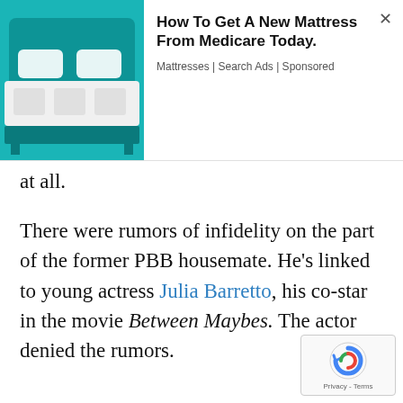[Figure (photo): Advertisement banner showing a mattress on a teal bed frame with white pillows, alongside ad text 'How To Get A New Mattress From Medicare Today.' from Mattresses | Search Ads | Sponsored]
at all.
There were rumors of infidelity on the part of the former PBB housemate. He's linked to young actress Julia Barretto, his co-star in the movie Between Maybes. The actor denied the rumors.